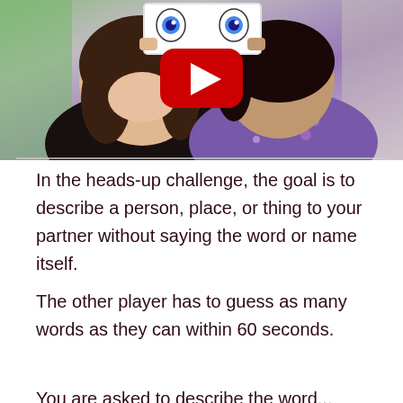[Figure (photo): Two women holding a card with cartoon eyes above their heads, with a YouTube play button overlay in the center of the image.]
In the heads-up challenge, the goal is to describe a person, place, or thing to your partner without saying the word or name itself.
The other player has to guess as many words as they can within 60 seconds.
You are asked to describe the word...